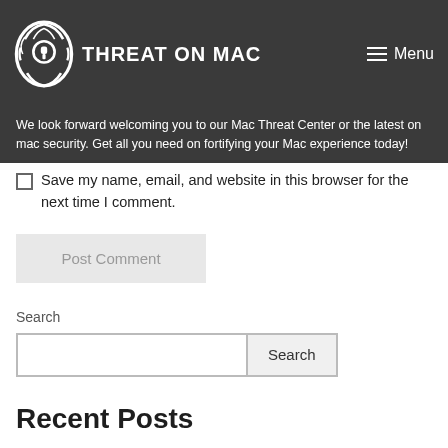THREAT ON MAC | Menu
We look forward welcoming you to our Mac Threat Center or the latest on mac security. Get all you need on fortifying your Mac experience today!
Save my name, email, and website in this browser for the next time I comment.
Post Comment
Search
Recent Posts
Remove tapufind.com Mac Virus
How to Remove h13ue.cueags.com Mac